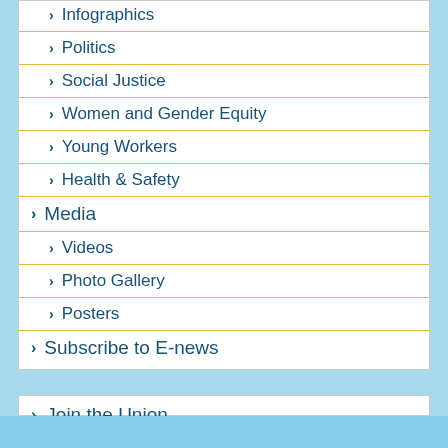Infographics
Politics
Social Justice
Women and Gender Equity
Young Workers
Health & Safety
Media
Videos
Photo Gallery
Posters
Subscribe to E-news
Join the Union